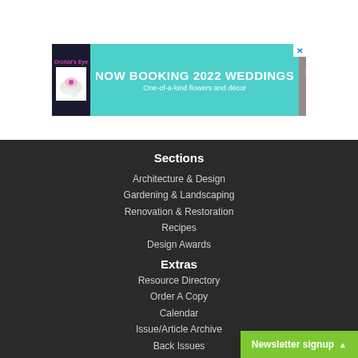[Figure (other): Advertisement banner: NOW BOOKING 2022 WEDDINGS - One-of-a-kind flowers and décor, with floral images and a close button (X)]
Sections
Architecture & Design
Gardening & Landscaping
Renovation & Restoration
Recipes
Design Awards
Extras
Resource Directory
Order A Copy
Calendar
Issue/Article Archive
Back Issues
About Us
Faces of New Hamp…
Newsletter signup ▲